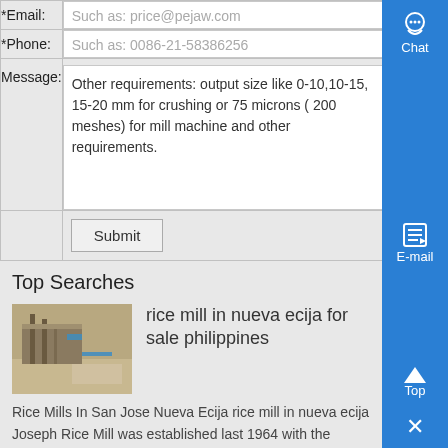| Field | Input |
| --- | --- |
| *Email: | Such as: price@pejaw.com |
| *Phone: | Such as: 0086-21-58386256 |
| Message: | Other requirements: output size like 0-10,10-15, 15-20 mm for crushing or 75 microns ( 200 meshes) for mill machine and other requirements. |
|  | Submit |
Top Searches
[Figure (photo): Thumbnail image of a rice mill or industrial machinery at a site in Nueva Ecija, Philippines]
rice mill in nueva ecija for sale philippines
Rice Mills In San Jose Nueva Ecija rice mill in nueva ecija Joseph Rice Mill was established last 1964 with the primary objective of assisting the San Jose City Nueva Ecija farmers in